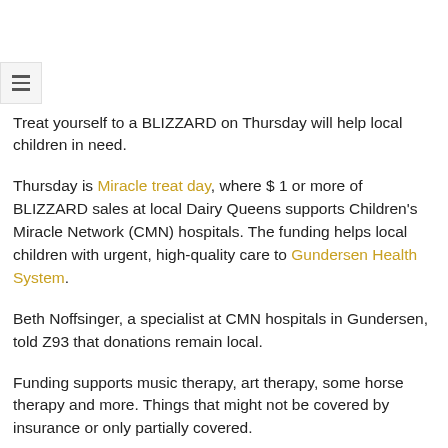≡
Treat yourself to a BLIZZARD on Thursday will help local children in need.
Thursday is Miracle treat day, where $ 1 or more of BLIZZARD sales at local Dairy Queens supports Children's Miracle Network (CMN) hospitals. The funding helps local children with urgent, high-quality care to Gundersen Health System.
Beth Noffsinger, a specialist at CMN hospitals in Gundersen, told Z93 that donations remain local.
Funding supports music therapy, art therapy, some horse therapy and more. Things that might not be covered by insurance or only partially covered.